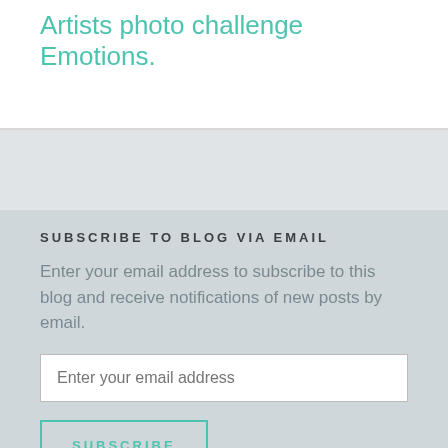Artists photo challenge Emotions.
SUBSCRIBE TO BLOG VIA EMAIL
Enter your email address to subscribe to this blog and receive notifications of new posts by email.
Enter your email address
SUBSCRIBE